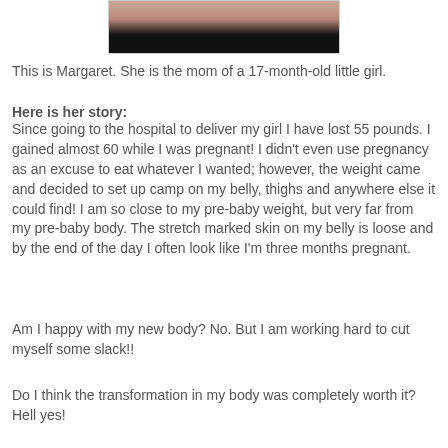[Figure (photo): Cropped photo of a person wearing a black top, showing the lower face/chin and upper torso area]
This is Margaret. She is the mom of a 17-month-old little girl.
Here is her story:
Since going to the hospital to deliver my girl I have lost 55 pounds. I gained almost 60 while I was pregnant! I didn't even use pregnancy as an excuse to eat whatever I wanted; however, the weight came and decided to set up camp on my belly, thighs and anywhere else it could find! I am so close to my pre-baby weight, but very far from my pre-baby body. The stretch marked skin on my belly is loose and by the end of the day I often look like I'm three months pregnant.
Am I happy with my new body? No. But I am working hard to cut myself some slack!!
Do I think the transformation in my body was completely worth it? Hell yes!